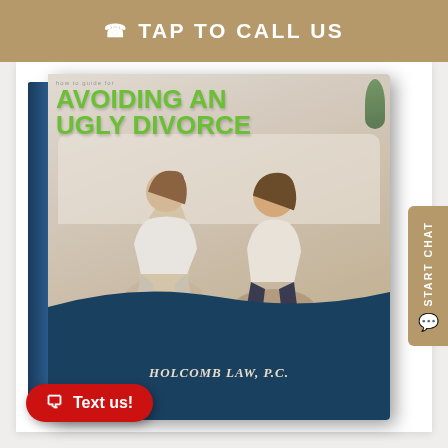TAP TO CALL US
[Figure (illustration): Book cover titled 'Avoiding an Ugly Divorce' by Holcomb Law, P.C., showing a couple sitting back-to-back on the floor in front of a sofa]
START CHAT
Text us!